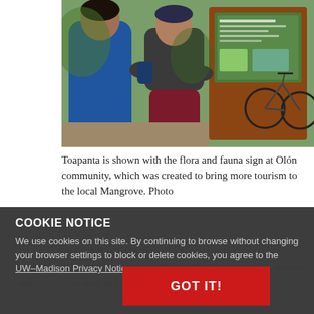[Figure (photo): Two people standing near bicycles and a flora and fauna informational sign board outdoors. One person in a blue jacket, another in a dark jacket and maroon pants. Lush green vegetation visible in background.]
Toapanta is shown with the flora and fauna sign at Olón community, which was created to bring more tourism to the local Mangrove. Photo credit: Joffre Ibarra
We use cookies on this site. By continuing to browse without changing your browser settings to block or delete cookies, you agree to the UW–Madison Privacy Notice.